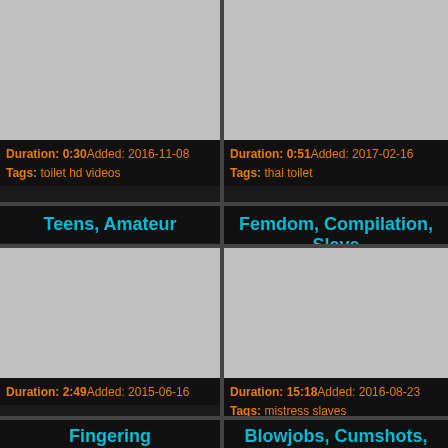[Figure (photo): Video thumbnail placeholder - grey rectangle, top left]
Duration: 0:30Added: 2016-11-08
Tags: toilet hd videos
[Figure (photo): Video thumbnail placeholder - grey rectangle, top right]
Duration: 0:51Added: 2017-02-16
Tags: thai toilet
Teens, Amateur
Femdom, Compilation, Slave
[Figure (photo): Video thumbnail placeholder - grey rectangle, middle left]
Duration: 2:49Added: 2015-06-16
[Figure (photo): Video thumbnail placeholder - grey rectangle, middle right]
Duration: 15:18Added: 2016-08-23
Tags: mistress slaves
Fingering
Blowjobs, Cumshots, Blondes